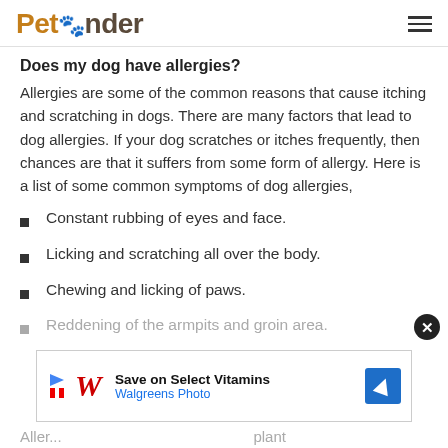PetPonder
Does my dog have allergies?
Allergies are some of the common reasons that cause itching and scratching in dogs. There are many factors that lead to dog allergies. If your dog scratches or itches frequently, then chances are that it suffers from some form of allergy. Here is a list of some common symptoms of dog allergies,
Constant rubbing of eyes and face.
Licking and scratching all over the body.
Chewing and licking of paws.
Reddening of the armpits and groin area.
[Figure (screenshot): Advertisement banner for Walgreens Photo: Save on Select Vitamins, with Walgreens Photo logo, play/stop icons, and a blue navigation arrow icon.]
Aller... plant...